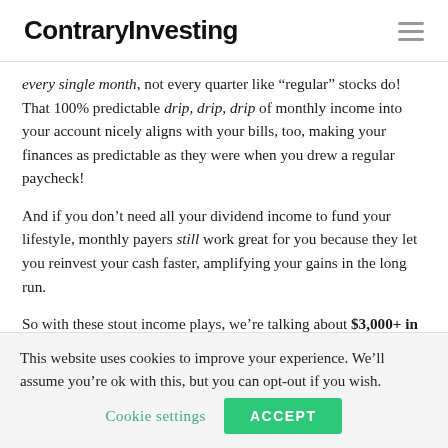ContraryInvesting
every single month, not every quarter like “regular” stocks do! That 100% predictable drip, drip, drip of monthly income into your account nicely aligns with your bills, too, making your finances as predictable as they were when you drew a regular paycheck!
And if you don’t need all your dividend income to fund your lifestyle, monthly payers still work great for you because they let you reinvest your cash faster, amplifying your gains in the long run.
So with these stout income plays, we’re talking about $3,000+ in dividends every month on that $500K. Or
This website uses cookies to improve your experience. We’ll assume you’re ok with this, but you can opt-out if you wish. Cookie settings ACCEPT